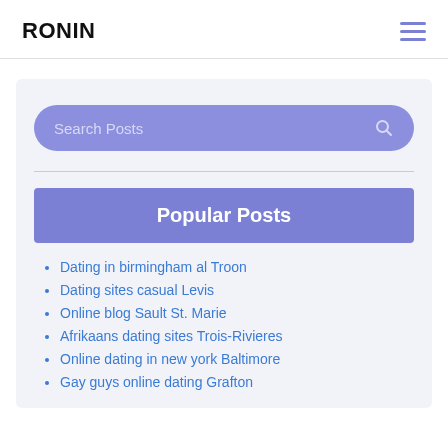RONIN
[Figure (other): Search Posts input bar with magnifying glass icon, purple/violet background, rounded pill shape]
Popular Posts
Dating in birmingham al Troon
Dating sites casual Levis
Online blog Sault St. Marie
Afrikaans dating sites Trois-Rivieres
Online dating in new york Baltimore
Gay guys online dating Grafton